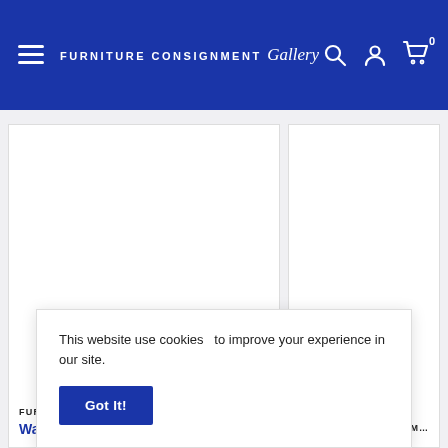Furniture Consignment Gallery — site header with hamburger menu, logo, search, account, and cart icons
[Figure (screenshot): Product listing cards showing 'FURNITURE CONSIGNMENT GALLERY' brand label and 'Wall Decor' category link in blue]
This website use cookies   to improve your experience in our site.
Got It!